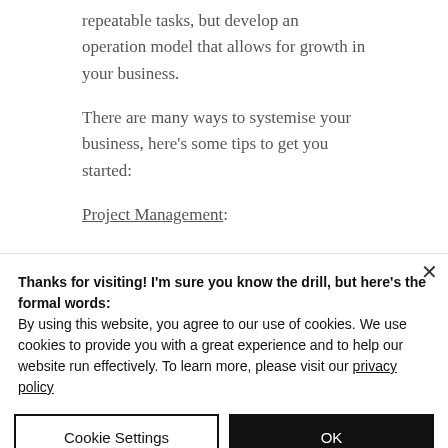repeatable tasks, but develop an operation model that allows for growth in your business.
There are many ways to systemise your business, here's some tips to get you started:
Project Management:
Thanks for visiting! I'm sure you know the drill, but here's the formal words:
By using this website, you agree to our use of cookies. We use cookies to provide you with a great experience and to help our website run effectively. To learn more, please visit our privacy policy